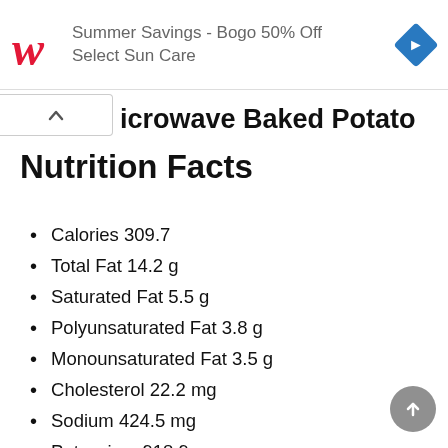[Figure (logo): Walgreens ad banner: red cursive W logo, text 'Summer Savings - Bogo 50% Off Select Sun Care', blue diamond navigation icon]
icrowave Baked Potato
Nutrition Facts
Calories 309.7
Total Fat 14.2 g
Saturated Fat 5.5 g
Polyunsaturated Fat 3.8 g
Monounsaturated Fat 3.5 g
Cholesterol 22.2 mg
Sodium 424.5 mg
Potassium 918.9 mg
Total Carbohydrate 37.6 g